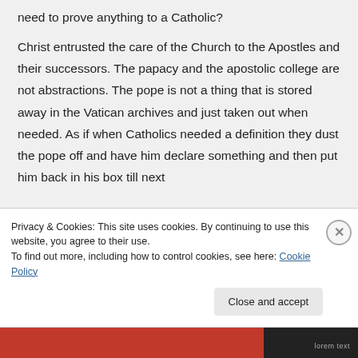need to prove anything to a Catholic?

Christ entrusted the care of the Church to the Apostles and their successors. The papacy and the apostolic college are not abstractions. The pope is not a thing that is stored away in the Vatican archives and just taken out when needed. As if when Catholics needed a definition they dust the pope off and have him declare something and then put him back in his box till next
Privacy & Cookies: This site uses cookies. By continuing to use this website, you agree to their use.
To find out more, including how to control cookies, see here: Cookie Policy